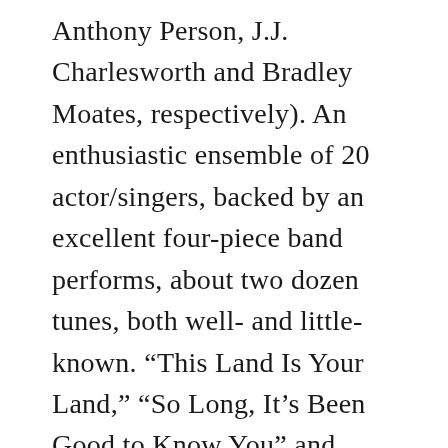Anthony Person, J.J. Charlesworth and Bradley Moates, respectively). An enthusiastic ensemble of 20 actor/singers, backed by an excellent four-piece band performs, about two dozen tunes, both well- and little-known. “This Land Is Your Land,” “So Long, It’s Been Good to Know You” and “Union Maid” are, of course, included. Among the highlights are the ensemble’s rousing “Hard Travelin’,” which opens the show, and the familiar “Bound for Glory” plus Christine